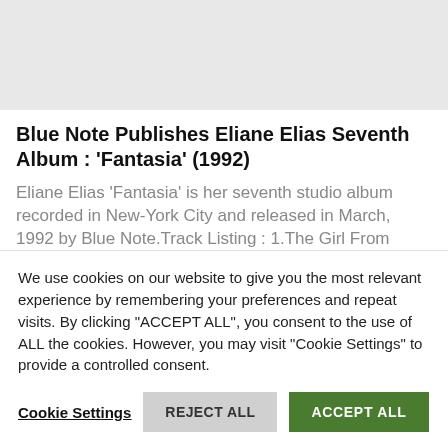[Figure (photo): Light gray placeholder image area at the top of the page]
Blue Note Publishes Eliane Elias Seventh Album : 'Fantasia' (1992)
Eliane Elias 'Fantasia' is her seventh studio album recorded in New-York City and released in March, 1992 by Blue Note.Track Listing : 1.The Girl From Ipanema (Norman Gimbel, Antonio Carlos Jobim, Vinícius De
We use cookies on our website to give you the most relevant experience by remembering your preferences and repeat visits. By clicking "ACCEPT ALL", you consent to the use of ALL the cookies. However, you may visit "Cookie Settings" to provide a controlled consent.
Cookie Settings    REJECT ALL    ACCEPT ALL